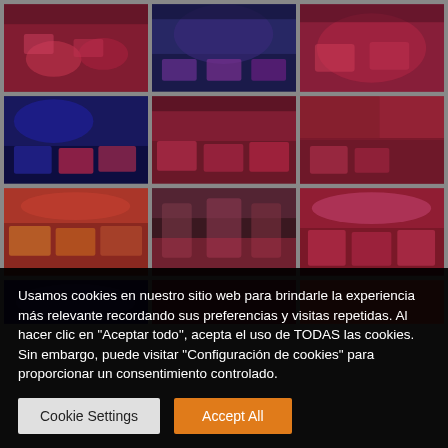[Figure (photo): Grid of restaurant interior photos showing dining rooms with red/pink/purple lighting, set tables, chairs, and decorative elements. Moroccan-style restaurant ambiance.]
Usamos cookies en nuestro sitio web para brindarle la experiencia más relevante recordando sus preferencias y visitas repetidas. Al hacer clic en "Aceptar todo", acepta el uso de TODAS las cookies. Sin embargo, puede visitar "Configuración de cookies" para proporcionar un consentimiento controlado.